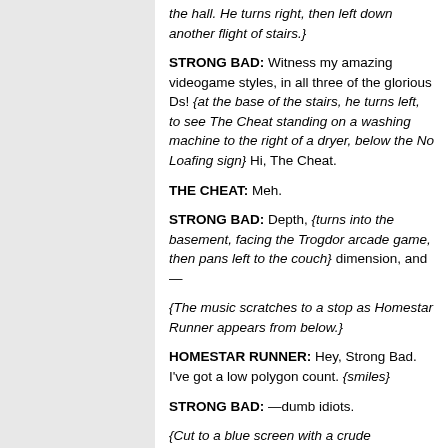the hall. He turns right, then left down another flight of stairs.}
STRONG BAD: Witness my amazing videogame styles, in all three of the glorious Ds! {at the base of the stairs, he turns left, to see The Cheat standing on a washing machine to the right of a dryer, below the No Loafing sign} Hi, The Cheat.
THE CHEAT: Meh.
STRONG BAD: Depth, {turns into the basement, facing the Trogdor arcade game, then pans left to the couch} dimension, and—
{The music scratches to a stop as Homestar Runner appears from below.}
HOMESTAR RUNNER: Hey, Strong Bad. I've got a low polygon count. {smiles}
STRONG BAD: —dumb idiots.
{Cut to a blue screen with a crude representation of the Telltale Games logo.}